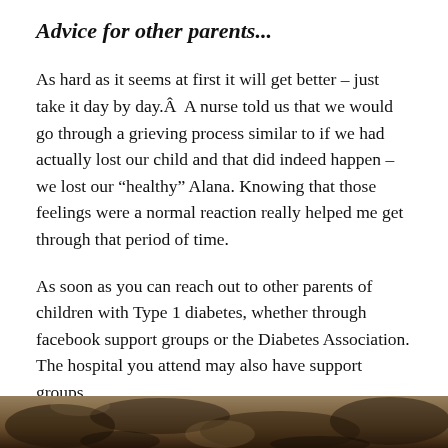Advice for other parents...
As hard as it seems at first it will get better – just take it day by day.Â  A nurse told us that we would go through a grieving process similar to if we had actually lost our child and that did indeed happen – we lost our “healthy” Alana. Knowing that those feelings were a normal reaction really helped me get through that period of time.
As soon as you can reach out to other parents of children with Type 1 diabetes, whether through facebook support groups or the Diabetes Association. The hospital you attend may also have support groups.
[Figure (photo): Partial view of a photograph at the bottom of the page, showing a dark textured image, likely of a person or outdoor scene.]